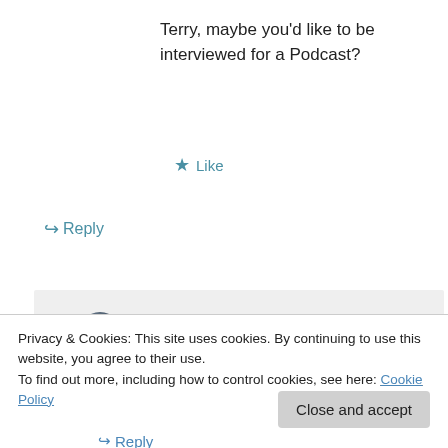Terry, maybe you'd like to be interviewed for a Podcast?
★ Like
↪ Reply
Barry Brook on 27 January 2011 at 11:44 AM
You can now listen to my ABC 891 interview here (4:16 min):
Privacy & Cookies: This site uses cookies. By continuing to use this website, you agree to their use.
To find out more, including how to control cookies, see here: Cookie Policy
Close and accept
↪ Reply